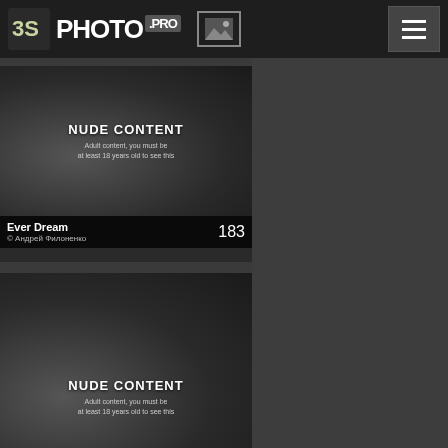3S PHOTO .PRO
[Figure (screenshot): Photo thumbnail with NUDE CONTENT overlay, title 'Ever Dream', author '© Андрей Филоненко', count 183]
[Figure (screenshot): Photo thumbnail with NUDE CONTENT overlay, same style as above]